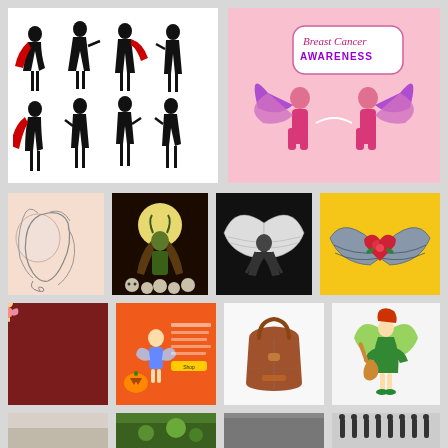[Figure (illustration): Eight silhouettes of women in superhero poses, some with red capes, arranged in two rows of four on a white background.]
[Figure (illustration): Breast Cancer Awareness illustration on pink background showing two women with butterfly wings and text 'Breast Cancer AWARENESS'.]
[Figure (illustration): Minimal line art illustration of a woman's face with flowing hair on a peach background.]
[Figure (illustration): Dark fantasy illustration of a horned demon woman with long hair standing on skulls beneath a full moon, on black background.]
[Figure (illustration): Black and white illustration of a winged angelic figure crouching with wings spread on black background.]
[Figure (illustration): Tattoo-style illustration of angel wings with a red rose and heart in the center on yellow background.]
[Figure (illustration): Grid of nine cute pink angel/fairy characters with wings arranged in 3x3 pattern on dark red background.]
[Figure (illustration): Orange promotional banner with fairy/angel character and text in Russian, featuring Halloween pumpkins.]
[Figure (photo): Product photo of a brown leather handbag with handles on white background.]
[Figure (illustration): Illustration of a green fairy/pixie character with red hair holding a guitar, with butterfly wings on white background.]
[Figure (photo): Partially visible image, appears to be a nature/landscape photo, cropped at bottom of page.]
[Figure (photo): Partially visible green nature image, cropped at bottom of page.]
[Figure (photo): Partially visible dark image, cropped at bottom of page.]
[Figure (illustration): Partially visible silhouettes of women figures, cropped at bottom of page.]